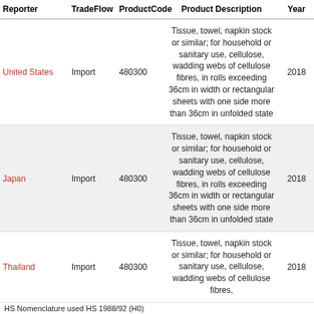| Reporter | TradeFlow | ProductCode | Product Description | Year | Pa |
| --- | --- | --- | --- | --- | --- |
| United States | Import | 480300 | Tissue, towel, napkin stock or similar; for household or sanitary use, cellulose, wadding webs of cellulose fibres, in rolls exceeding 36cm in width or rectangular sheets with one side more than 36cm in unfolded state | 2018 |  |
| Japan | Import | 480300 | Tissue, towel, napkin stock or similar; for household or sanitary use, cellulose, wadding webs of cellulose fibres, in rolls exceeding 36cm in width or rectangular sheets with one side more than 36cm in unfolded state | 2018 |  |
| Thailand | Import | 480300 | Tissue, towel, napkin stock or similar; for household or sanitary use, cellulose, wadding webs of cellulose fibres, | 2018 |  |
HS Nomenclature used HS 1988/92 (H0)